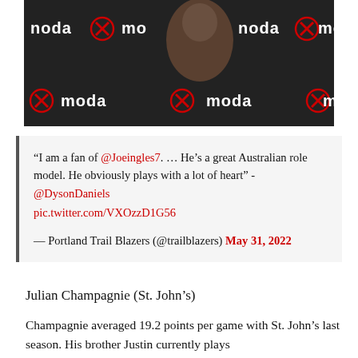[Figure (photo): Basketball player at Portland Trail Blazers press conference backdrop with moda and Trail Blazers logos repeated on background]
“I am a fan of @Joeingles7. … He’s a great Australian role model. He obviously plays with a lot of heart” - @DysonDaniels pic.twitter.com/VXOzzD1G56

— Portland Trail Blazers (@trailblazers) May 31, 2022
Julian Champagnie (St. John’s)
Champagnie averaged 19.2 points per game with St. John’s last season. His brother Justin currently plays